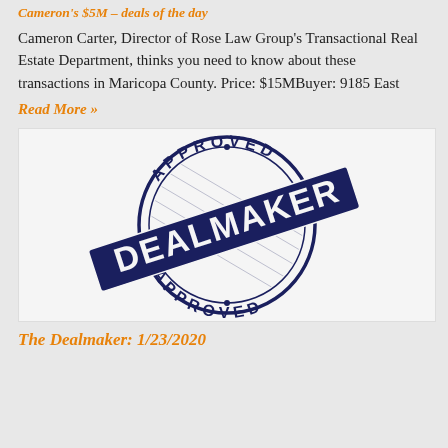Cameron's $5M – deals of the day
Cameron Carter, Director of Rose Law Group's Transactional Real Estate Department, thinks you need to know about these transactions in Maricopa County. Price: $15MBuyer: 9185 East
Read More »
[Figure (illustration): A dark navy blue rubber stamp graphic reading 'DEALMAKER' diagonally across the center, with 'APPROVED' in a circular arc at the top and bottom of the stamp circle.]
The Dealmaker: 1/23/2020